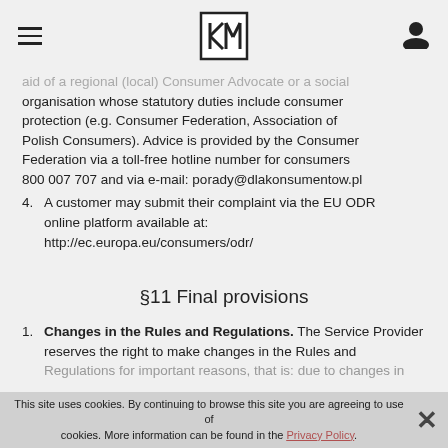KM logo navigation bar
aid of a regional (local) Consumer Advocate or a social organisation whose statutory duties include consumer protection (e.g. Consumer Federation, Association of Polish Consumers). Advice is provided by the Consumer Federation via a toll-free hotline number for consumers 800 007 707 and via e-mail: porady@dlakonsumentow.pl
4. A customer may submit their complaint via the EU ODR online platform available at: http://ec.europa.eu/consumers/odr/
§11 Final provisions
1. Changes in the Rules and Regulations. The Service Provider reserves the right to make changes in the Rules and Regulations for important reasons, that is: due to changes in
This site uses cookies. By continuing to browse this site you are agreeing to use of cookies. More information can be found in the Privacy Policy.